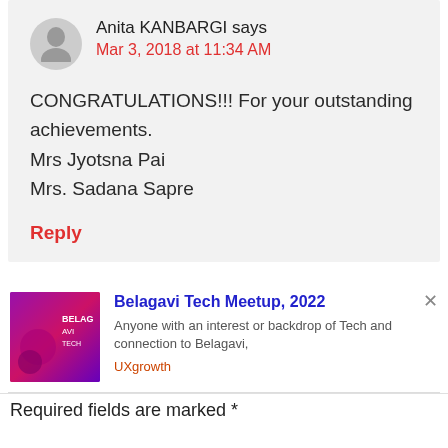Anita KANBARGI says
Mar 3, 2018 at 11:34 AM
CONGRATULATIONS!!! For your outstanding achievements.
Mrs Jyotsna Pai
Mrs. Sadana Sapre
Reply
[Figure (other): Belagavi Tech Meetup 2022 promotional banner with gradient purple/pink background and event text]
Belagavi Tech Meetup, 2022
Anyone with an interest or backdrop of Tech and connection to Belagavi,
UXgrowth
Required fields are marked *